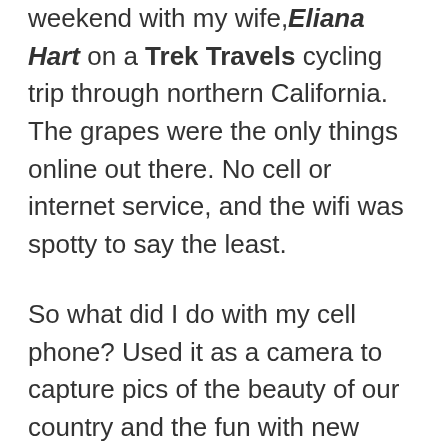weekend with my wife, Eliana Hart on a Trek Travels cycling trip through northern California. The grapes were the only things online out there. No cell or internet service, and the wifi was spotty to say the least.
So what did I do with my cell phone? Used it as a camera to capture pics of the beauty of our country and the fun with new friends.
I'd unplugged. And it was actually okay.
In the same week, I had a three book deal with Amazon's Kindle World set for release. This was my biggest writing obligation to date, next to my doctoral dissertation. It required manuscript uploading, cover design downloading and entering